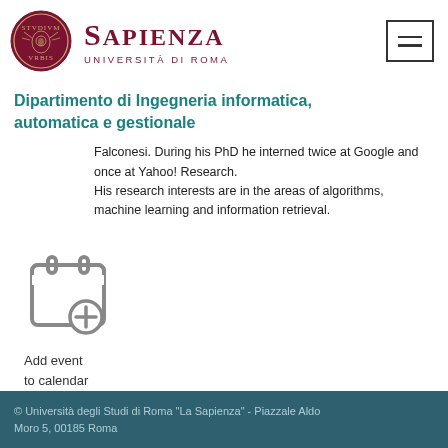Sapienza Università di Roma
Dipartimento di Ingegneria informatica, automatica e gestionale
Falconesi. During his PhD he interned twice at Google and once at Yahoo! Research.
His research interests are in the areas of algorithms, machine learning and information retrieval.
[Figure (illustration): Calendar icon with a plus sign circle, labeled 'Add event to calendar']
Add event
to calendar
© Università degli Studi di Roma "La Sapienza" - Piazzale Aldo Moro 5, 00185 Roma